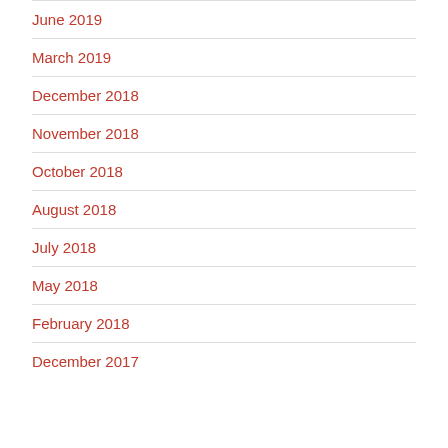June 2019
March 2019
December 2018
November 2018
October 2018
August 2018
July 2018
May 2018
February 2018
December 2017